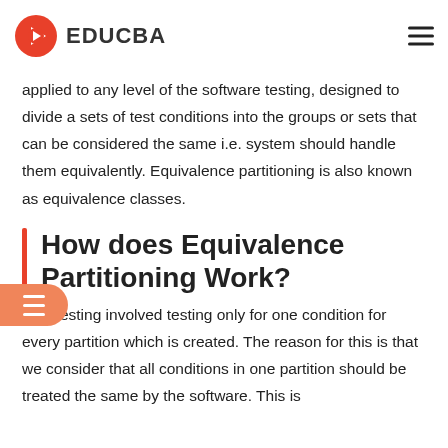EDUCBA
technique in which test cases are designed to execute representatives from equivalence partitions. It can be applied to any level of the software testing, designed to divide a sets of test conditions into the groups or sets that can be considered the same i.e. system should handle them equivalently. Equivalence partitioning is also known as equivalence classes.
How does Equivalence Partitioning Work?
This testing involved testing only for one condition for every partition which is created. The reason for this is that we consider that all conditions in one partition should be treated the same by the software. This is